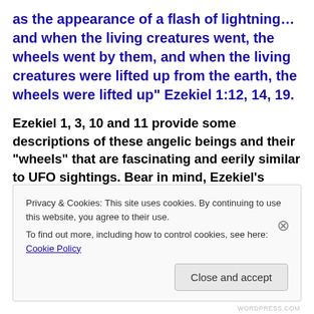as the appearance of a flash of lightning…and when the living creatures went, the wheels went by them, and when the living creatures were lifted up from the earth, the wheels were lifted up" Ezekiel 1:12, 14, 19.
Ezekiel 1, 3, 10 and 11 provide some descriptions of these angelic beings and their "wheels" that are fascinating and eerily similar to UFO sightings. Bear in mind, Ezekiel's vocabulary didn't include spacecraft, UFOs, flying saucers and electromagnetism. He used the terms "living
Privacy & Cookies: This site uses cookies. By continuing to use this website, you agree to their use.
To find out more, including how to control cookies, see here: Cookie Policy
Close and accept